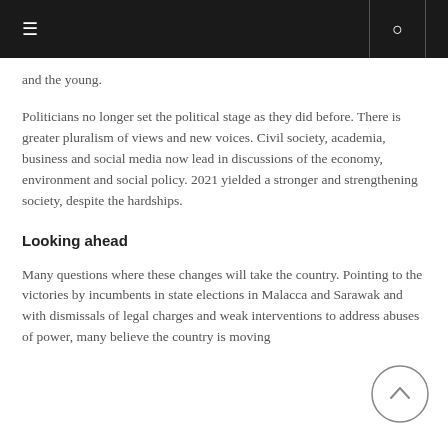≡  🔍
and the young.
Politicians no longer set the political stage as they did before. There is greater pluralism of views and new voices. Civil society, academia, business and social media now lead in discussions of the economy, environment and social policy. 2021 yielded a stronger and strengthening society, despite the hardships.
Looking ahead
Many questions where these changes will take the country. Pointing to the victories by incumbents in state elections in Malacca and Sarawak and with dismissals of legal charges and weak interventions to address abuses of power, many believe the country is moving